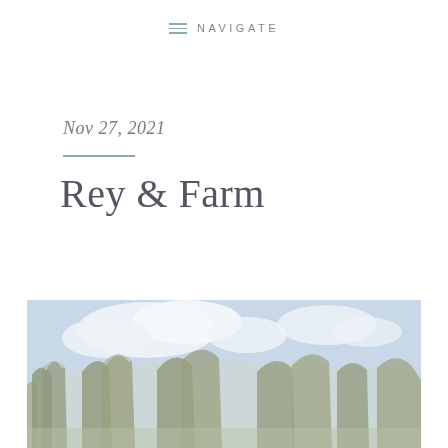≡ NAVIGATE
Nov 27, 2021
Rey & Farm
[Figure (photo): Landscape photo showing trees and clouds against a light blue sky, partially cropped at bottom of page]